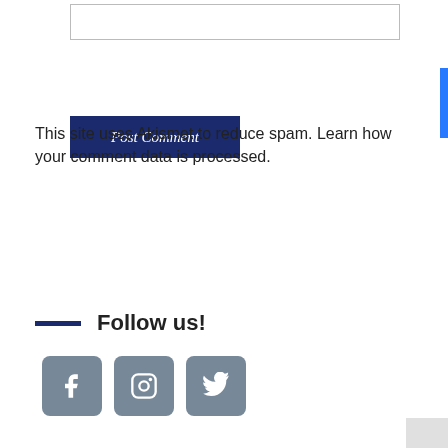Post Comment
This site uses Akismet to reduce spam. Learn how your comment data is processed.
Search …
Follow us!
[Figure (illustration): Social media icons: Facebook, Instagram, Twitter]